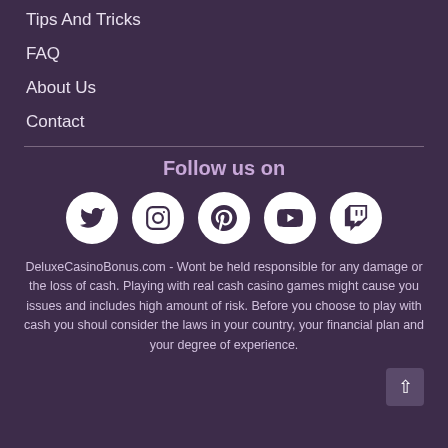Tips And Tricks
FAQ
About Us
Contact
Follow us on
[Figure (infographic): Five social media icons in white circles: Twitter, Instagram, Pinterest, YouTube, Twitch]
DeluxeCasinoBonus.com - Wont be held responsible for any damage or the loss of cash. Playing with real cash casino games might cause you issues and includes high amount of risk. Before you choose to play with cash you shoul consider the laws in your country, your financial plan and your degree of experience.